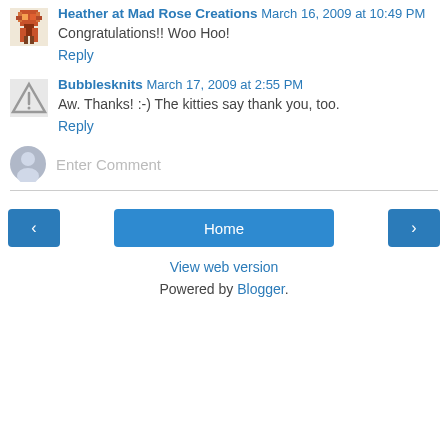Heather at Mad Rose Creations March 16, 2009 at 10:49 PM
Congratulations!! Woo Hoo!
Reply
Bubbblesknits March 17, 2009 at 2:55 PM
Aw. Thanks! :-) The kitties say thank you, too.
Reply
Enter Comment
Home
View web version
Powered by Blogger.